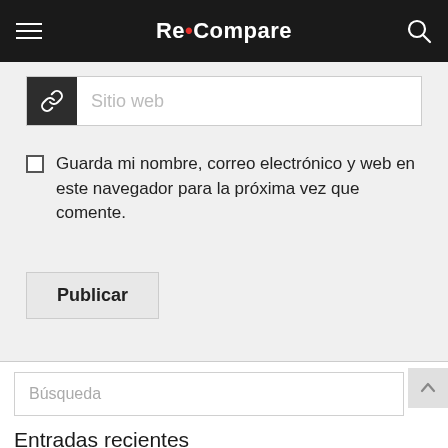Re•Compare
Sitio web
Guarda mi nombre, correo electrónico y web en este navegador para la próxima vez que comente.
Publicar
Búsqueda
Entradas recientes
Unite 2 | Eco Starter Kit Far… Full |… Descarg…